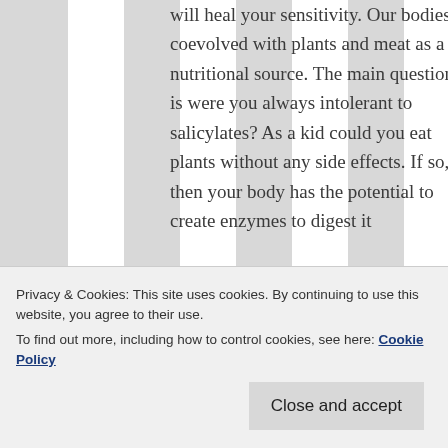will heal your sensitivity. Our bodies coevolved with plants and meat as a nutritional source. The main question is were you always intolerant to salicylates? As a kid could you eat plants without any side effects. If so, then your body has the potential to create enzymes to digest it
if you continue
Privacy & Cookies: This site uses cookies. By continuing to use this website, you agree to their use.
To find out more, including how to control cookies, see here: Cookie Policy